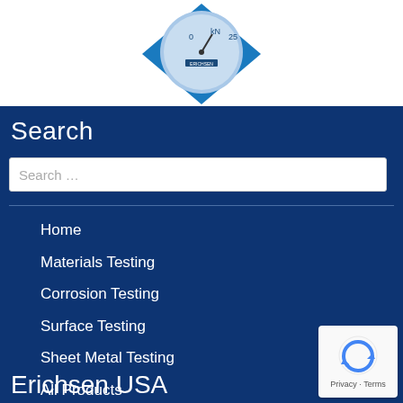[Figure (logo): Diamond-shaped logo with a blue gauge/pressure meter instrument shown in the center on white background]
Search
[Figure (screenshot): Search input box with placeholder text 'Search ...']
Home
Materials Testing
Corrosion Testing
Surface Testing
Sheet Metal Testing
All Products
Contact Us
Erichsen USA